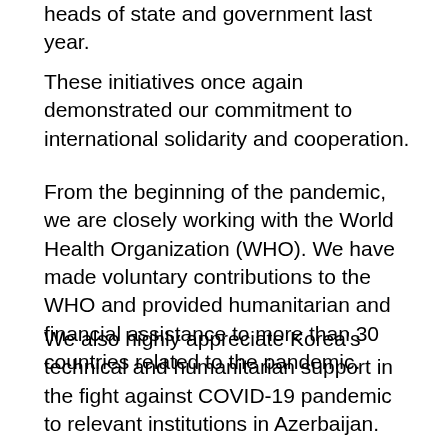heads of state and government last year.
These initiatives once again demonstrated our commitment to international solidarity and cooperation.
From the beginning of the pandemic, we are closely working with the World Health Organization (WHO). We have made voluntary contributions to the WHO and provided humanitarian and financial assistance to more than 30 countries related to the pandemic.
We also highly appreciate Korea's technical and humanitarian support in the fight against COVID-19 pandemic to relevant institutions in Azerbaijan.